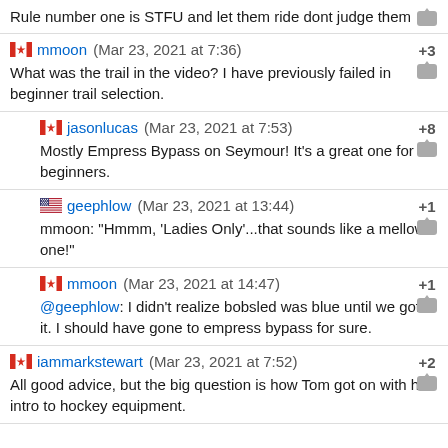Rule number one is STFU and let them ride dont judge them
mmoon (Mar 23, 2021 at 7:36) +3
What was the trail in the video? I have previously failed in beginner trail selection.
jasonlucas (Mar 23, 2021 at 7:53) +8
Mostly Empress Bypass on Seymour! It's a great one for beginners.
geephlow (Mar 23, 2021 at 13:44) +1
mmoon: "Hmmm, 'Ladies Only'...that sounds like a mellow one!"
mmoon (Mar 23, 2021 at 14:47) +1
@geephlow: I didn't realize bobsled was blue until we got to it. I should have gone to empress bypass for sure.
iammarkstewart (Mar 23, 2021 at 7:52) +2
All good advice, but the big question is how Tom got on with his intro to hockey equipment.